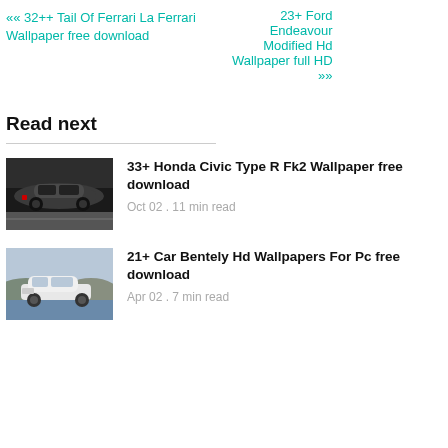«« 32++ Tail Of Ferrari La Ferrari Wallpaper free download
23+ Ford Endeavour Modified Hd Wallpaper full HD »»
Read next
33+ Honda Civic Type R Fk2 Wallpaper free download
Oct 02 . 11 min read
[Figure (photo): Dark Honda Civic Type R FK2 car on road]
21+ Car Bentely Hd Wallpapers For Pc free download
Apr 02 . 7 min read
[Figure (photo): White Bentley Continental GT car near water and hills]